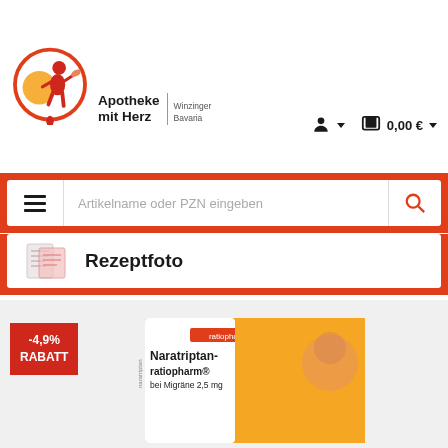[Figure (logo): Apotheke mit Herz logo with red circle, figure, and orange pharmacy cross, with Winzinger Bavaria text]
0,00 €
[Figure (screenshot): Search bar with hamburger menu, placeholder text 'Artikelname oder PZN eingeben', and red search icon, all inside a red-bordered container]
Artikelname oder PZN eingeben
[Figure (infographic): Rezeptfoto button with prescription icon and text 'Rezeptfoto']
Rezeptfoto
[Figure (infographic): -4,9% RABATT red badge on product area]
-4,9%
RABATT
[Figure (photo): Naratriptan-ratiopharm bei Migräne 2,5 mg product box with orange packaging and woman's face]